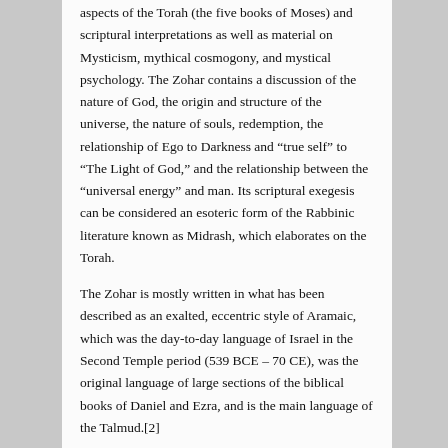aspects of the Torah (the five books of Moses) and scriptural interpretations as well as material on Mysticism, mythical cosmogony, and mystical psychology. The Zohar contains a discussion of the nature of God, the origin and structure of the universe, the nature of souls, redemption, the relationship of Ego to Darkness and “true self” to “The Light of God,” and the relationship between the “universal energy” and man. Its scriptural exegesis can be considered an esoteric form of the Rabbinic literature known as Midrash, which elaborates on the Torah.
The Zohar is mostly written in what has been described as an exalted, eccentric style of Aramaic, which was the day-to-day language of Israel in the Second Temple period (539 BCE – 70 CE), was the original language of large sections of the biblical books of Daniel and Ezra, and is the main language of the Talmud.[2]
The Zohar first appeared in Spain in the 13th century, and was published by a Jewish writer named Moses de Leon. De Leon ascribed the work